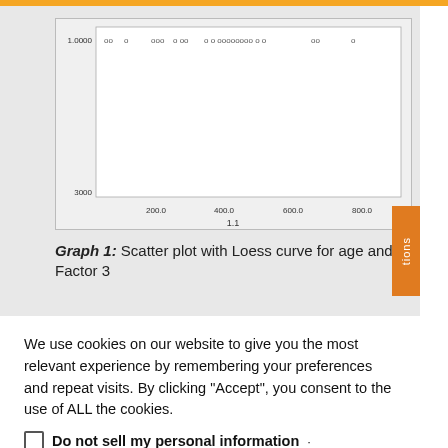[Figure (continuous-plot): Scatter plot with Loess curve for age and Factor 3. X-axis labeled '1.1' with values 200, 400, 600, 800. Y-axis shows values from 3000 to 1.0000. Scattered 'o' characters across the top of the plot area representing data points.]
Graph 1: Scatter plot with Loess curve for age and Factor 3
We use cookies on our website to give you the most relevant experience by remembering your preferences and repeat visits. By clicking "Accept", you consent to the use of ALL the cookies.
Do not sell my personal information